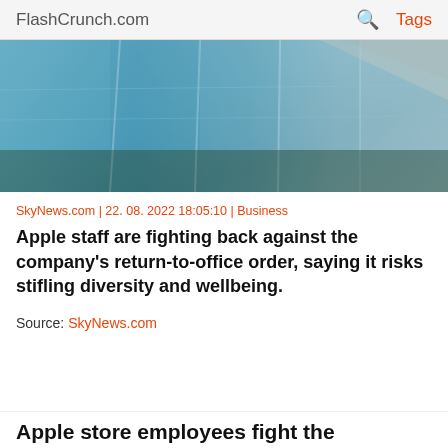FlashCrunch.com | 🔍 Tags
[Figure (photo): Glass building facade reflecting blue sky, viewed from below at an angle]
SkyNews.com | 22. 08. 2022 18:05:10 | Business
Apple staff are fighting back against the company's return-to-office order, saying it risks stifling diversity and wellbeing.
Source: SkyNews.com
Apple store employees fight the